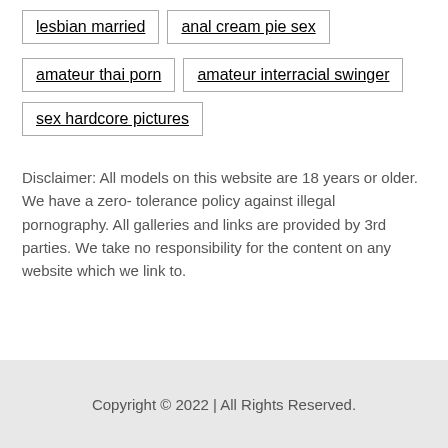lesbian married
anal cream pie sex
amateur thai porn
amateur interracial swinger
sex hardcore pictures
Disclaimer: All models on this website are 18 years or older. We have a zero- tolerance policy against illegal pornography. All galleries and links are provided by 3rd parties. We take no responsibility for the content on any website which we link to.
Copyright © 2022 | All Rights Reserved.